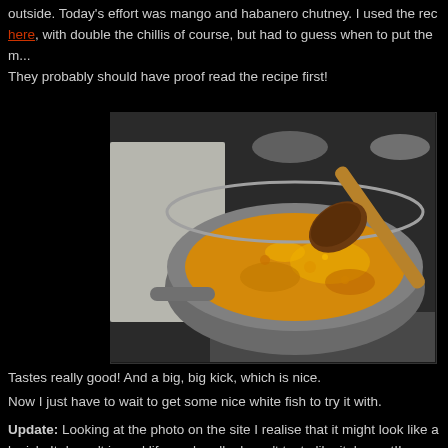outside. Today's effort was mango and habanero chutney. I used the rec here, with double the chillis of course, but had to guess when to put the m... They probably should have proof read the recipe first!
[Figure (photo): A saucepan on a stove containing yellow-orange mango and habanero chutney being stirred with a wooden spoon]
Tastes really good! And a big, big kick, which is nice.
Now I just have to wait to get some nice white fish to try it with.
Update: Looking at the photo on the site I realise that it might look like a b sick. It doesn't in real life, and really doesn't taste like it, honest!!